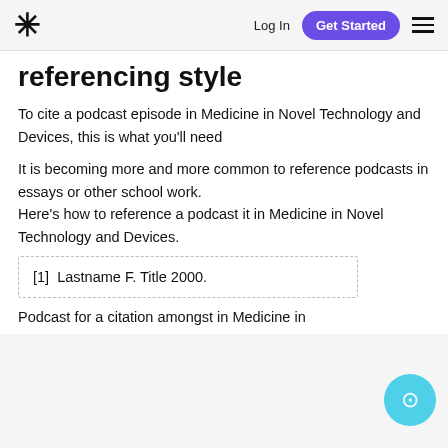* Log In Get Started ☰
referencing style
To cite a podcast episode in Medicine in Novel Technology and Devices, this is what you'll need
It is becoming more and more common to reference podcasts in essays or other school work.
Here's how to reference a podcast it in Medicine in Novel Technology and Devices.
[1]  Lastname F. Title 2000.
Podcast for a citation amongst in Medicine in